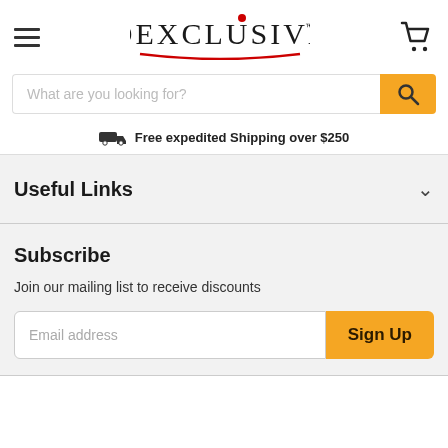[Figure (logo): Dexclusive logo with red dot above the letter i and a red curved underline, with a shopping cart icon and hamburger menu]
What are you looking for?
Free expedited Shipping over $250
Useful Links
Subscribe
Join our mailing list to receive discounts
Email address
Sign Up